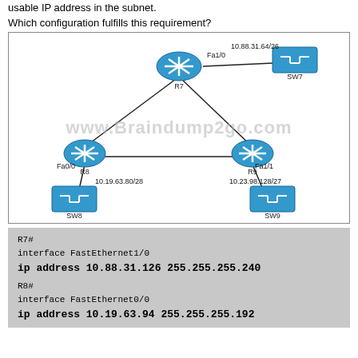usable IP address in the subnet.
Which configuration fulfills this requirement?
[Figure (network-graph): Network diagram showing routers R7, R8, R9 connected in a triangle topology with switches SW7, SW8, SW9. R7 connects via Fa1/0 to SW7 (10.88.31.64/26). R8 connects via Fa0/0 to SW8 (10.19.63.80/28). R9 connects via Fa1/1 to SW9 (10.23.98.128/27).]
R7#
interface FastEthernet1/0
ip address 10.88.31.126 255.255.255.240

R8#
interface FastEthernet0/0
ip address 10.19.63.94 255.255.255.192